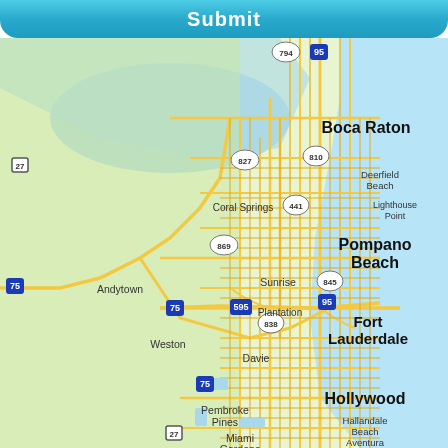[Figure (screenshot): Mobile app UI showing a Submit button at the top over a map of South Florida including cities: Boca Raton, Deerfield Beach, Lighthouse Point, Pompano Beach, Coral Springs, Sunrise, Plantation, Fort Lauderdale, Andytown, Weston, Davie, Pembroke Pines, Hollywood, Hallandale Beach, Aventura, Miami Gardens. Roads including I-95, I-75, I-595, and routes 794, 827, 869, 838, 845, 810, 441, 27 are shown.]